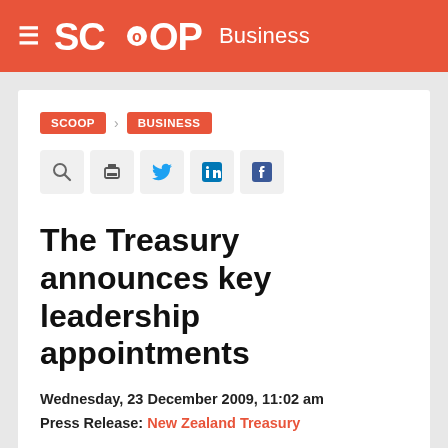SCOOP Business
SCOOP > BUSINESS
The Treasury announces key leadership appointments
Wednesday, 23 December 2009, 11:02 am
Press Release: New Zealand Treasury